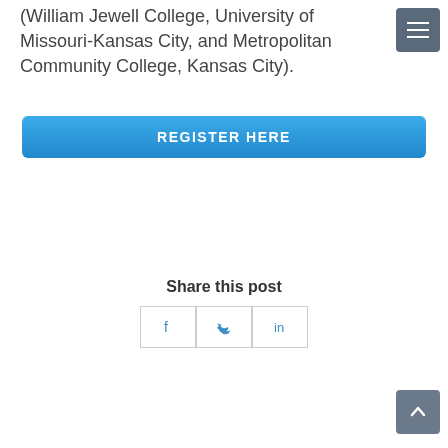(William Jewell College, University of Missouri-Kansas City, and Metropolitan Community College, Kansas City).
[Figure (other): Blue gradient 'REGISTER HERE' button]
Share this post
[Figure (other): Social share icons: Facebook, Twitter, LinkedIn]